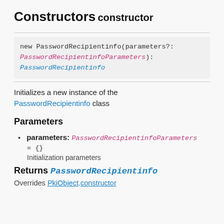Constructors
constructor
new PasswordRecipientinfo(parameters?: PasswordRecipientinfoParameters): PasswordRecipientinfo
Initializes a new instance of the PasswordRecipientinfo class
Parameters
parameters: PasswordRecipientinfoParameters = {}
Initialization parameters
Returns PasswordRecipientinfo
Overrides PkiObject.constructor